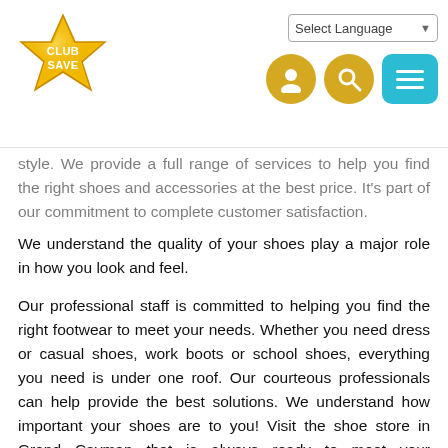[Figure (logo): Club Save gold star logo with text CLUB SAVE]
[Figure (screenshot): Website header with Select Language dropdown, user icon, search icon, and hamburger menu icon]
style. We provide a full range of services to help you find the right shoes and accessories at the best price. It's part of our commitment to complete customer satisfaction.
We understand the quality of your shoes play a major role in how you look and feel.
Our professional staff is committed to helping you find the right footwear to meet your needs. Whether you need dress or casual shoes, work boots or school shoes, everything you need is under one roof. Our courteous professionals can help provide the best solutions. We understand how important your shoes are to you! Visit the shoe store in Grand Cayman that is always ready to meet your expectations. Stop by The No. 1 Shoe Shop today.